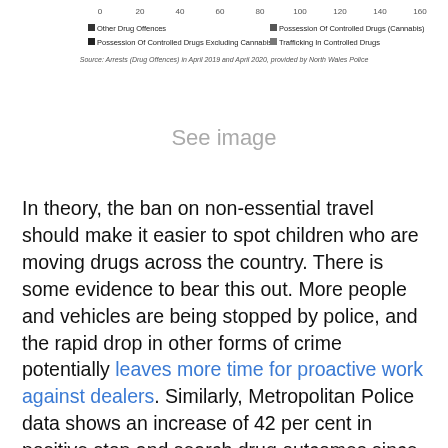[Figure (other): Top portion of a horizontal bar chart showing drug offences data with legend items: Other Drug Offences, Possession Of Controlled Drugs (Cannabis), Possession Of Controlled Drugs Excluding Cannabis, Trafficking In Controlled Drugs. X-axis from 0 to 160. Source: Arrests (Drug Offences) in April 2019 and April 2020, provided by North Wales Police. Main chart body is cut off (see image placeholder).]
In theory, the ban on non-essential travel should make it easier to spot children who are moving drugs across the country. There is some evidence to bear this out. More people and vehicles are being stopped by police, and the rapid drop in other forms of crime potentially leaves more time for proactive work against dealers. Similarly, Metropolitan Police data shows an increase of 42 per cent in positive stop and search drug outcomes since March, showing perhaps both the buoyancy of the drugs market but also the increased